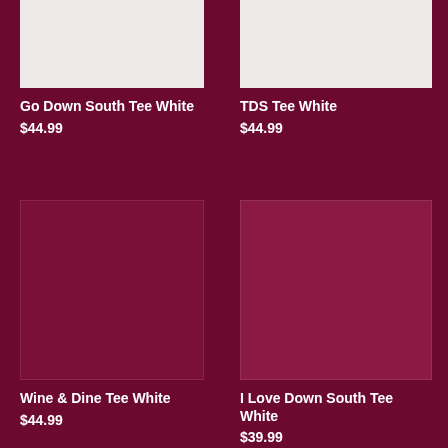[Figure (photo): White t-shirt product image for Go Down South Tee White on dark maroon background]
Go Down South Tee White
$44.99
[Figure (photo): White t-shirt product image for TDS Tee White on dark maroon background]
TDS Tee White
$44.99
[Figure (photo): Product image placeholder for Wine & Dine Tee White, maroon colored square on maroon background]
Wine & Dine Tee White
$44.99
[Figure (photo): Product image placeholder for I Love Down South Tee White, lighter maroon square on maroon background]
I Love Down South Tee White
$39.99